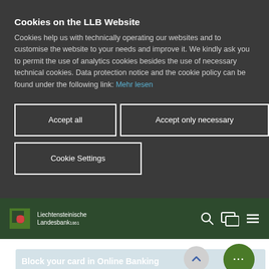Cookies on the LLB Website
Cookies help us with technically operating our websites and to customise the website to your needs and improve it. We kindly ask you to permit the use of analytics cookies besides the use of necessary technical cookies. Data protection notice and the cookie policy can be found under the following link: Mehr lesen
Accept all
Accept only necessary
Cookie Settings
[Figure (logo): Liechtensteinische Landesbank 1861 logo with navigation bar icons (search, login, menu) on dark green background]
Block your card in Online Banking